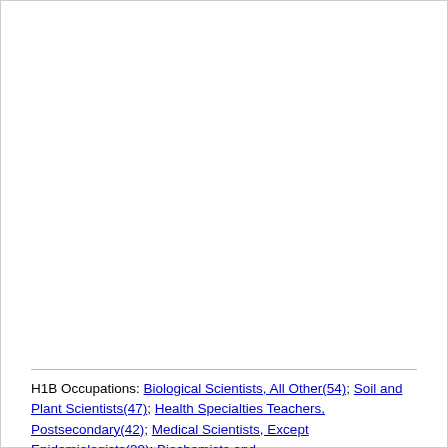H1B Occupations: Biological Scientists, All Other(54); Soil and Plant Scientists(47); Health Specialties Teachers, Postsecondary(42); Medical Scientists, Except Epidemiologists(39); Biochemists and